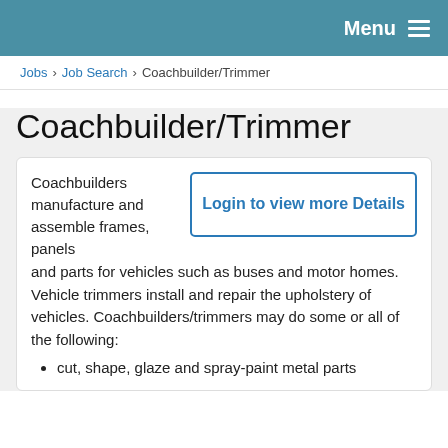Menu
Jobs › Job Search › Coachbuilder/Trimmer
Coachbuilder/Trimmer
Login to view more Details
Coachbuilders manufacture and assemble frames, panels and parts for vehicles such as buses and motor homes. Vehicle trimmers install and repair the upholstery of vehicles. Coachbuilders/trimmers may do some or all of the following:
cut, shape, glaze and spray-paint metal parts